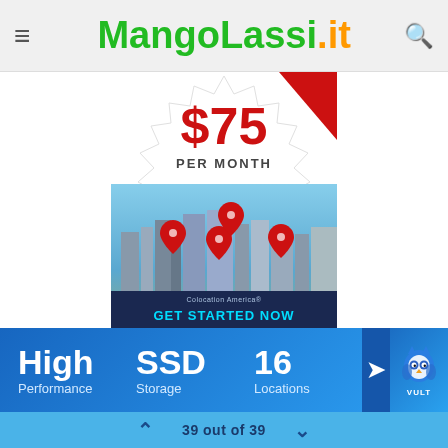MangoLassi.it
[Figure (advertisement): Colocation America advertisement showing $75 per month price in a starburst shape over a city skyline photo with map pin location markers and a 'Get Started Now' call to action banner]
High Performance   SSD Storage   16 Locations
[Figure (logo): Vultr owl mascot logo in blue]
39 out of 39